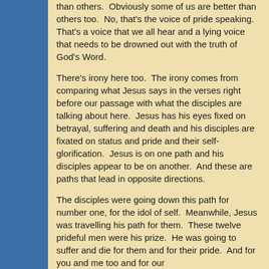than others.  Obviously some of us are better than others too.  No, that's the voice of pride speaking.  That's a voice that we all hear and a lying voice that needs to be drowned out with the truth of God's Word.
There's irony here too.  The irony comes from comparing what Jesus says in the verses right before our passage with what the disciples are talking about here.  Jesus has his eyes fixed on betrayal, suffering and death and his disciples are fixated on status and pride and their self-glorification.  Jesus is on one path and his disciples appear to be on another.  And these are paths that lead in opposite directions.
The disciples were going down this path for number one, for the idol of self.  Meanwhile, Jesus was travelling his path for them.  These twelve prideful men were his prize.  He was going to suffer and die for them and for their pride.  And for you and me too and for our